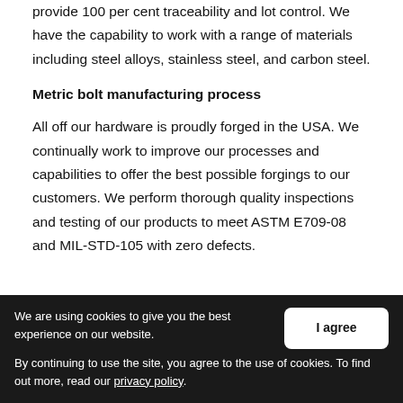provide 100 per cent traceability and lot control. We have the capability to work with a range of materials including steel alloys, stainless steel, and carbon steel.
Metric bolt manufacturing process
All off our hardware is proudly forged in the USA. We continually work to improve our processes and capabilities to offer the best possible forgings to our customers. We perform thorough quality inspections and testing of our products to meet ASTM E709-08 and MIL-STD-105 with zero defects.
We are using cookies to give you the best experience on our website.
By continuing to use the site, you agree to the use of cookies. To find out more, read our privacy policy.